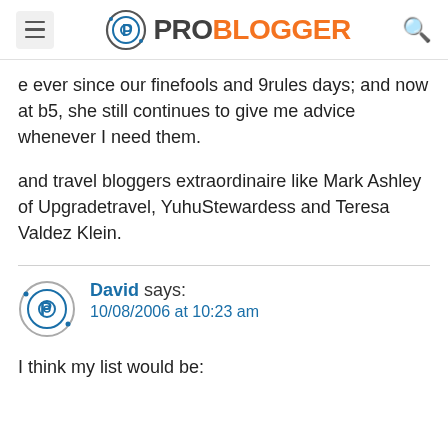PROBLOGGER
e ever since our finefools and 9rules days; and now at b5, she still continues to give me advice whenever I need them.
and travel bloggers extraordinaire like Mark Ashley of Upgradetravel, YuhuStewardess and Teresa Valdez Klein.
David says:
10/08/2006 at 10:23 am
I think my list would be: